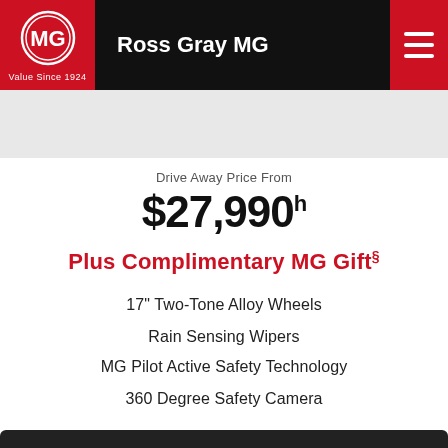Ross Gray MG
[Figure (photo): Vehicle image placeholder, light gray background]
Drive Away Price From
$27,990h
Plus Complimentary MG Gift§
17" Two-Tone Alloy Wheels
Rain Sensing Wipers
MG Pilot Active Safety Technology
360 Degree Safety Camera